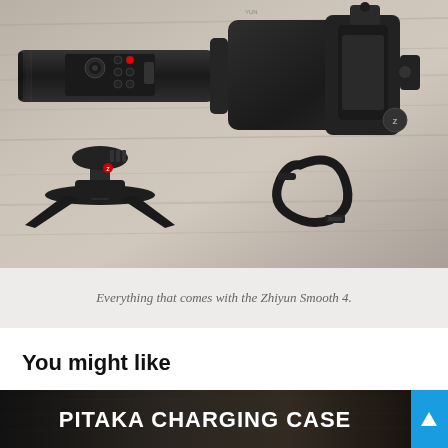[Figure (photo): Product photo showing everything that comes with the Zhiyun Smooth 4 gimbal: the gimbal stabilizer unit on top, and below it a tripod/stand and a USB charging cable, all laid out on a wooden surface.]
Everything that comes with the Zhiyun Smooth 4.
You might like
[Figure (photo): Banner image showing text 'PITAKA CHARGING CASE' in bold white letters on a dark textured background, with a blue scroll-to-top arrow button on the right.]